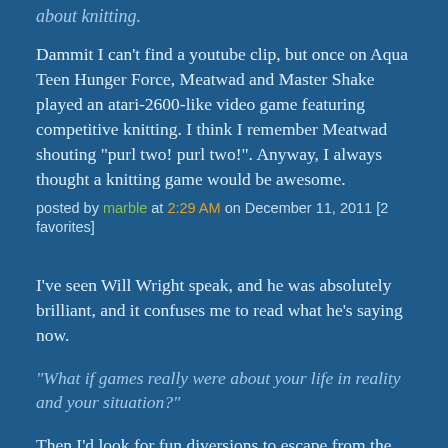about knitting.
Dammit I can't find a youtube clip, but once on Aqua Teen Hunger Force, Meatwad and Master Shake played an atari-2600-like video game featuring competitive knitting. I think I remember Meatwad shouting "purl two! purl two!". Anyway, I always thought a knitting game would be awesome.
posted by marble at 2:29 AM on December 11, 2011 [2 favorites]
I've seen Will Wright speak, and he was absolutely brilliant, and it confuses me to read what he's saying now.
"What if games really were about your life in reality and your situation?"
Then I'd look for fun diversions to escape from the everyday drudgery of those games. Maybe something with bright colored jewels that explode when I match them up or angry